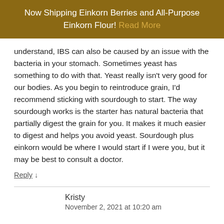Now Shipping Einkorn Berries and All-Purpose Einkorn Flour! Read More
understand, IBS can also be caused by an issue with the bacteria in your stomach. Sometimes yeast has something to do with that. Yeast really isn't very good for our bodies. As you begin to reintroduce grain, I'd recommend sticking with sourdough to start. The way sourdough works is the starter has natural bacteria that partially digest the grain for you. It makes it much easier to digest and helps you avoid yeast. Sourdough plus einkorn would be where I would start if I were you, but it may be best to consult a doctor.
Reply ↓
Kristy
November 2, 2021 at 10:20 am